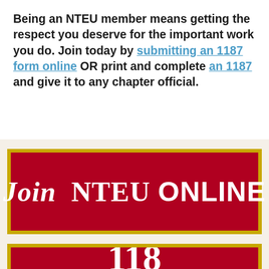Being an NTEU member means getting the respect you deserve for the important work you do. Join today by submitting an 1187 form online OR print and complete an 1187 and give it to any chapter official.
[Figure (other): Red banner with gold border containing white bold text 'Join NTEU ONLINE']
[Figure (other): Red banner with gold border partially visible at bottom, showing large white numbers/text beginning]